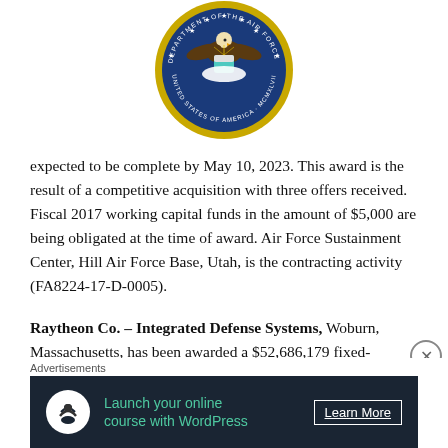[Figure (logo): U.S. Department of the Air Force official seal — circular badge with eagle, shield, gold ring, blue field, stars, and text 'DEPARTMENT OF THE AIR FORCE' and 'UNITED STATES OF AMERICA MCMXLVII']
expected to be complete by May 10, 2023. This award is the result of a competitive acquisition with three offers received. Fiscal 2017 working capital funds in the amount of $5,000 are being obligated at the time of award. Air Force Sustainment Center, Hill Air Force Base, Utah, is the contracting activity (FA8224-17-D-0005).
Raytheon Co. – Integrated Defense Systems, Woburn, Massachusetts, has been awarded a $52,686,179 fixed-
Advertisements
[Figure (infographic): Dark advertisement banner: icon of a person under a tree, teal text 'Launch your online course with WordPress', white 'Learn More' button with underline]